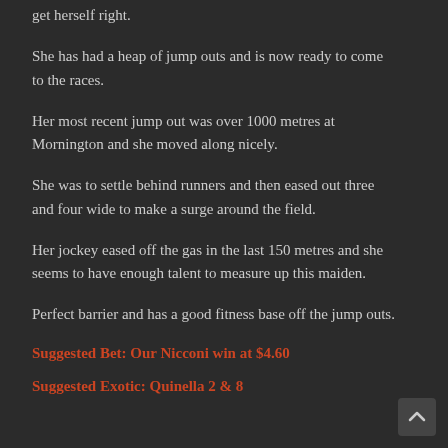get herself right.
She has had a heap of jump outs and is now ready to come to the races.
Her most recent jump out was over 1000 metres at Mornington and she moved along nicely.
She was to settle behind runners and then eased out three and four wide to make a surge around the field.
Her jockey eased off the gas in the last 150 metres and she seems to have enough talent to measure up this maiden.
Perfect barrier and has a good fitness base off the jump outs.
Suggested Bet: Our Nicconi win at $4.60
Suggested Exotic: Quinella 2 & 8